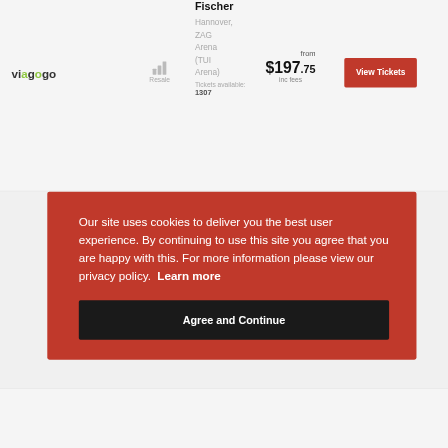[Figure (screenshot): Viagogo ticket resale listing for Fischer at Hannover ZAG Arena (TUI Arena) showing price from $197.75 inc fees with a View Tickets button]
Fischer
Hannover, ZAG Arena (TUI Arena)
Tickets available: 1307
from $197.75 inc fees
View Tickets
Our site uses cookies to deliver you the best user experience. By continuing to use this site you agree that you are happy with this. For more information please view our privacy policy.  Learn more
Agree and Continue
Resale Arena inc fees